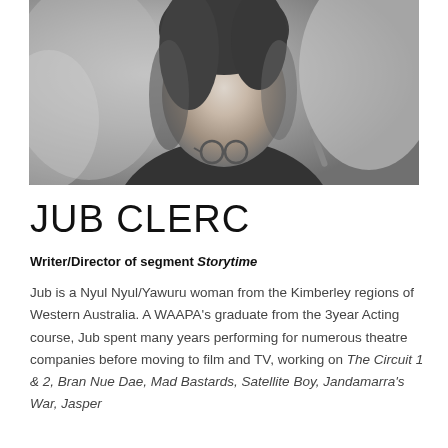[Figure (photo): Black and white portrait photo of Jub Clerc, a woman wearing a dark top with sunglasses hanging from her neckline, photographed from roughly chest up against a blurred outdoor background.]
JUB CLERC
Writer/Director of segment Storytime
Jub is a Nyul Nyul/Yawuru woman from the Kimberley regions of Western Australia. A WAAPA's graduate from the 3year Acting course, Jub spent many years performing for numerous theatre companies before moving to film and TV, working on The Circuit 1 & 2, Bran Nue Dae, Mad Bastards, Satellite Boy, Jandamarra's War, Jasper